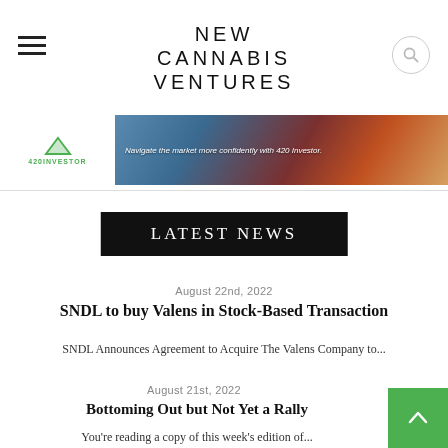NEW CANNABIS VENTURES
[Figure (infographic): 420Investor advertisement banner with American flag background and text: Navigate the market more confidently with 420 Investor.]
LATEST NEWS
August 22nd, 2022
SNDL to buy Valens in Stock-Based Transaction
SNDL Announces Agreement to Acquire The Valens Company to...
August 21st, 2022
Bottoming Out but Not Yet a Rally
You're reading a copy of this week's edition of...